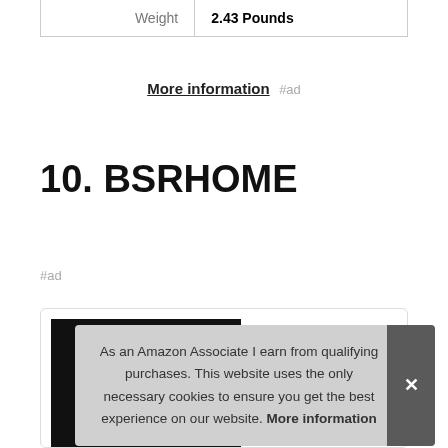| Weight | 2.43 Pounds |
More information #ad
10. BSRHOME
#ad
[Figure (photo): Product image partially visible in card]
As an Amazon Associate I earn from qualifying purchases. This website uses the only necessary cookies to ensure you get the best experience on our website. More information